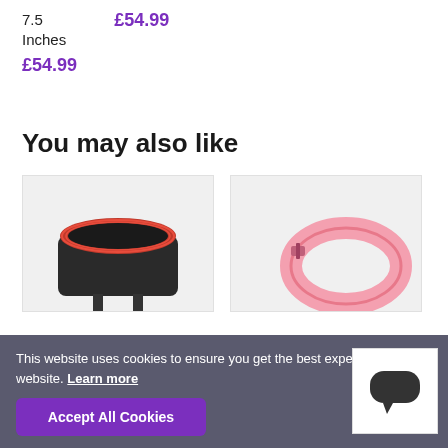7.5 Inches  £54.99
£54.99
You may also like
[Figure (photo): Product photo of a black and red leather restraint/cuff item]
[Figure (photo): Product photo of a pink collar or bracelet item]
This website uses cookies to ensure you get the best experience on our website. Learn more
Accept All Cookies